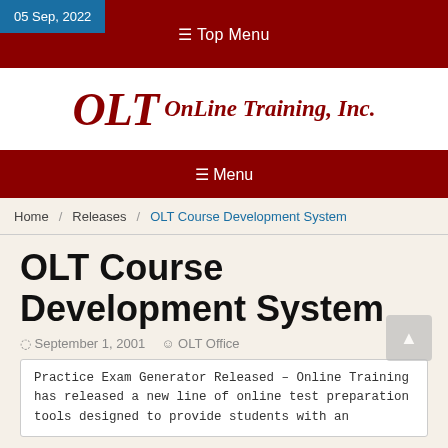05 Sep, 2022
☰ Top Menu
[Figure (logo): OLT OnLine Training, Inc. logo in dark red italic serif font]
☰ Menu
Home / Releases / OLT Course Development System
OLT Course Development System
September 1, 2001  OLT Office
Practice Exam Generator Released – Online Training has released a new line of online test preparation tools designed to provide students with an